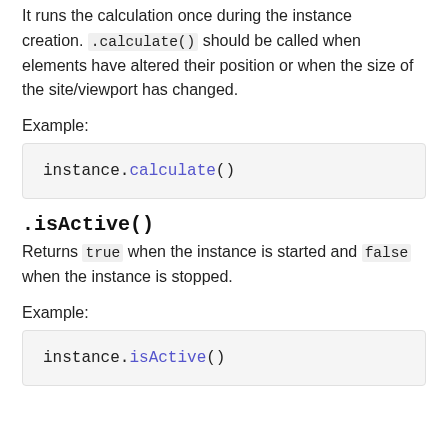It runs the calculation once during the instance creation. .calculate() should be called when elements have altered their position or when the size of the site/viewport has changed.
Example:
instance.calculate()
.isActive()
Returns true when the instance is started and false when the instance is stopped.
Example:
instance.isActive()